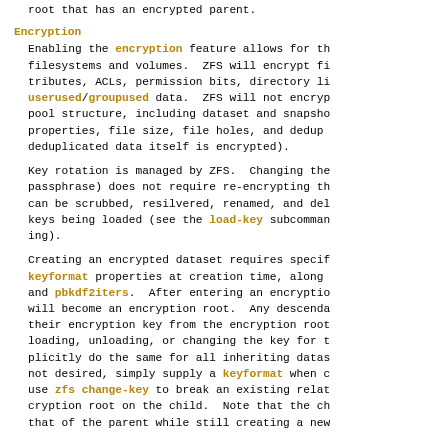root that has an encrypted parent.
Encryption
Enabling the encryption feature allows for the encryption of filesystems and volumes. ZFS will encrypt file data, attributes, ACLs, permission bits, directory links, and userused/groupused data. ZFS will not encrypt pool structure, including dataset and snapshot properties, file size, file holes, and dedup properties, file size, file holes, and dedup (though deduplicated data itself is encrypted).
Key rotation is managed by ZFS. Changing the key (or passphrase) does not require re-encrypting the data. Datasets can be scrubbed, resilvered, renamed, and deleted without keys being loaded (see the load-key subcommand for mounting).
Creating an encrypted dataset requires specifying the keyformat properties at creation time, along with keylocation and pbkdf2iters. After entering an encryption key, a dataset will become an encryption root. Any descendants will inherit their encryption key from the encryption root. This means that loading, unloading, or changing the key for the root will implicitly do the same for all inheriting datasets. If this is not desired, simply supply a keyformat when creating, or use zfs change-key to break an existing relationship and create a new encryption root on the child. Note that the child will keep that of the parent while still creating a new encryption root.